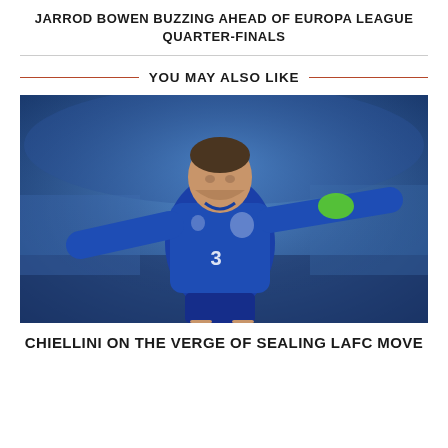JARROD BOWEN BUZZING AHEAD OF EUROPA LEAGUE QUARTER-FINALS
YOU MAY ALSO LIKE
[Figure (photo): Photo of a footballer wearing Italy's blue national team kit (number 3), arms outstretched, celebrating on a football pitch. The player is Giorgio Chiellini, wearing a green captain's armband.]
CHIELLINI ON THE VERGE OF SEALING LAFC MOVE